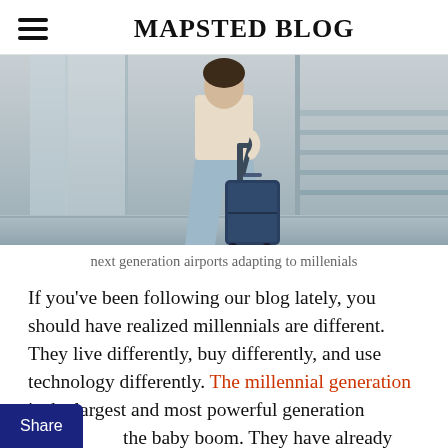MAPSTED BLOG
[Figure (photo): Person in light blue wide-leg pants pulling a dark blue suitcase through an airport terminal with glass walls and escalators visible]
next generation airports adapting to millenials
If you’ve been following our blog lately, you should have realized millennials are different. They live differently, buy differently, and use technology differently. The millennial generation is the largest and most powerful generation since the baby boom. They have already revolutionized several industries, and they’re still